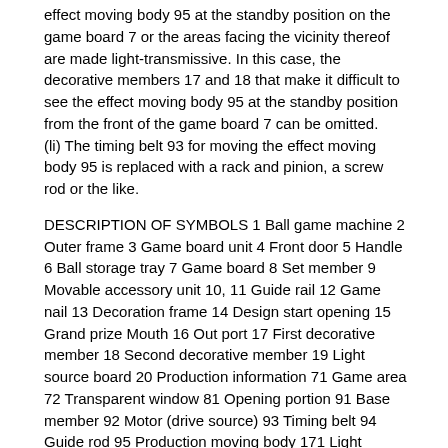effect moving body 95 at the standby position on the game board 7 or the areas facing the vicinity thereof are made light-transmissive. In this case, the decorative members 17 and 18 that make it difficult to see the effect moving body 95 at the standby position from the front of the game board 7 can be omitted.
(li) The timing belt 93 for moving the effect moving body 95 is replaced with a rack and pinion, a screw rod or the like.
DESCRIPTION OF SYMBOLS 1 Ball game machine 2 Outer frame 3 Game board unit 4 Front door 5 Handle 6 Ball storage tray 7 Game board 8 Set member 9 Movable accessory unit 10, 11 Guide rail 12 Game nail 13 Decoration frame 14 Design start opening 15 Grand prize Mouth 16 Out port 17 First decorative member 18 Second decorative member 19 Light source board 20 Production information 71 Game area 72 Transparent window 81 Opening portion 91 Base member 92 Motor (drive source) 93 Timing belt 94 Guide rod 95 Production moving body 171 Light transmission part 181 Opening part 951 Large lens part 952 Small lens part 953 Light source 954 Movable part